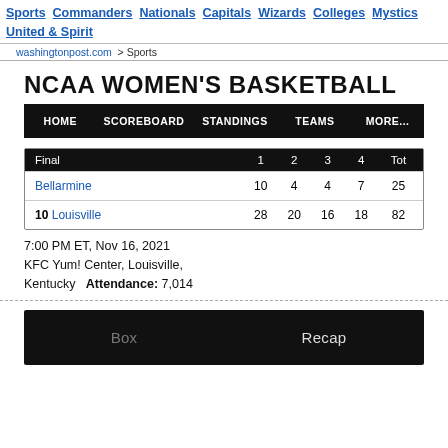Sports | Commanders | Nationals | Capitals | Wizards | Colleges | Mystics | United & Spirit
washingtonpost.com > Sports
NCAA WOMEN'S BASKETBALL
HOME | SCOREBOARD | STANDINGS | TEAMS | MORE...
| Final | 1 | 2 | 3 | 4 | Tot |
| --- | --- | --- | --- | --- | --- |
| Bellarmine | 10 | 4 | 4 | 7 | 25 |
| 10 Louisville | 28 | 20 | 16 | 18 | 82 |
7:00 PM ET, Nov 16, 2021
KFC Yum! Center, Louisville, Kentucky   Attendance: 7,014
Box   Recap